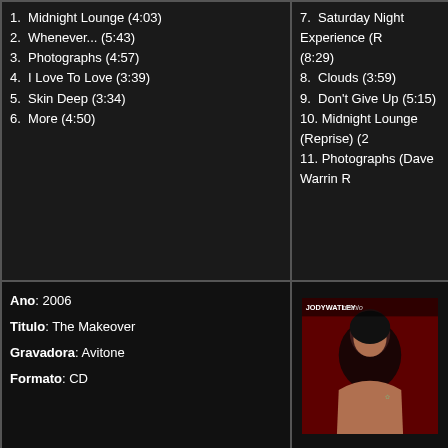1.  Midnight Lounge (4:03)
2.  Whenever... (5:43)
3.  Photographs (4:57)
4.  I Love To Love (3:39)
5.  Skin Deep (3:34)
6.  More (4:50)
7.  Saturday Night Experience (R... (8:29)
8.  Clouds (3:59)
9.  Don't Give Up (5:15)
10. Midnight Lounge (Reprise) (2...
11. Photographs (Dave Warrin R...
Ano: 2006
Titulo: The Makeover
Gravadora: Avitone
Formato: CD
[Figure (photo): Album cover for Jody Watley - The Makeover, showing a woman against a red background with text 'JODY WATLEY tremolo']
1.  Ms. Jody Watley Intro (0:04)
2.  A Beautiful Life (4:41)
3.  I Want Your Love (4:42)
4.  A Little Respect (3:59)
5.  Don't You Want Me (King Britt's Scuba Mix) (7:09)
6.  Looking For A New Love (3:48)
7.  Love Hangover (10:04)
8.  Midnight Lounge (MdCL Rem...
9.  Waiting In Vain (5:51)
10. Borderline (4:57)
11. Bed Of Roses (4:07)
12. Will You Still Love Me Tomor...